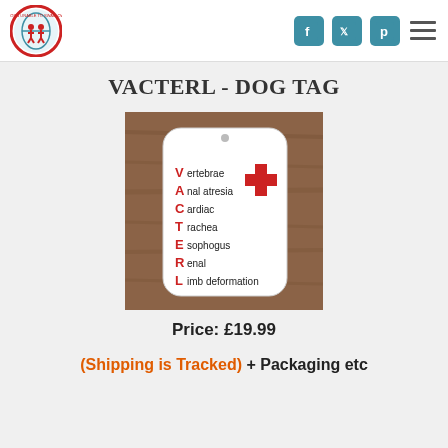Born Unable to Swallow logo | Facebook | Twitter | Pinterest | Menu
VACTERL - DOG TAG
[Figure (photo): Photo of a VACTERL medical dog tag on a wooden surface. The white tag lists: V ertebrae, A nal atresia, C ardiac, T rachea, E sophogus, R enal, L imb deformation, with a red medical cross symbol.]
Price: £19.99
(Shipping is Tracked) + Packaging etc